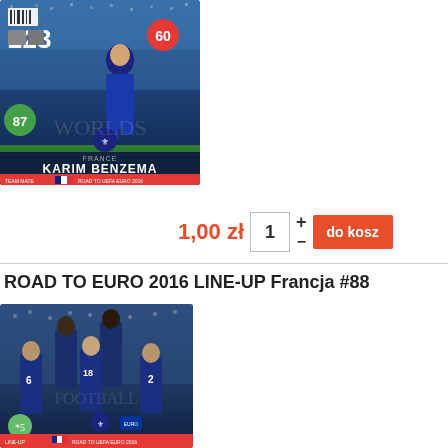[Figure (photo): Karim Benzema football trading card - Road to UEFA Euro 2016, card #223, rating 87, France team]
1,00 zł
1
do kosz
ROAD TO EURO 2016 LINE-UP Francja #88
[Figure (photo): France national football team LINE-UP trading card - Road to UEFA Euro 2016, card #88, showing group photo of French players]